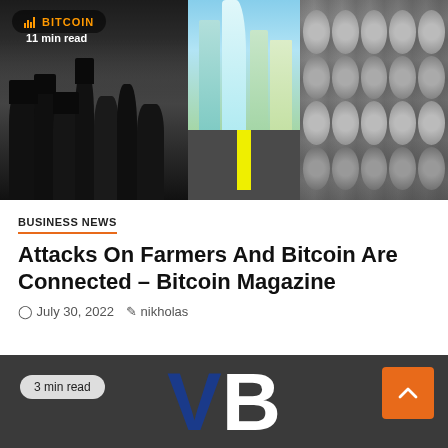[Figure (photo): Composite image: left side shows black-and-white crowd of men in top hats from early 20th century; center shows a futuristic city with tall blue-green buildings and a road with yellow line; right side shows rows of humanoid robots. Bitcoin logo and '11 min read' badge overlaid top-left.]
BUSINESS NEWS
Attacks On Farmers And Bitcoin Are Connected – Bitcoin Magazine
July 30, 2022   nikholas
[Figure (logo): Dark grey background with large 'VB' letters — V in dark blue, B in white. '3 min read' badge on the left. Orange scroll-to-top button with upward chevron on the right.]